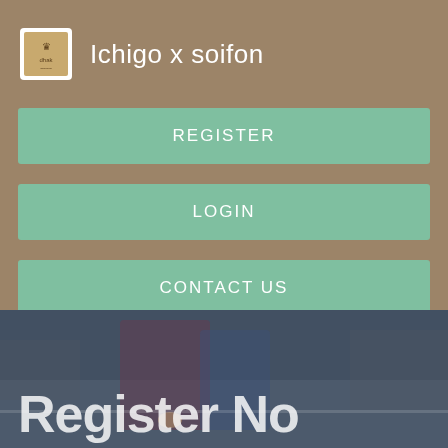Ichigo x soifon
REGISTER
LOGIN
CONTACT US
[Figure (photo): Background photo of people walking on a street/road, with large white 'Register No' text overlay at the bottom]
Register No